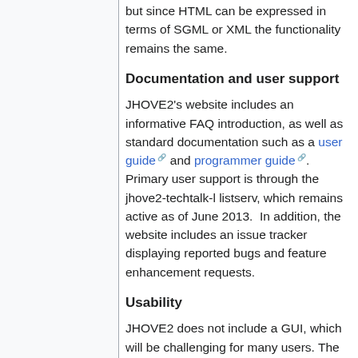but since HTML can be expressed in terms of SGML or XML the functionality remains the same.
Documentation and user support
JHOVE2's website includes an informative FAQ introduction, as well as standard documentation such as a user guide and programmer guide. Primary user support is through the jhove2-techtalk-l listserv, which remains active as of June 2013.  In addition, the website includes an issue tracker displaying reported bugs and feature enhancement requests.
Usability
JHOVE2 does not include a GUI, which will be challenging for many users. The default output (e. g. in xml, txt or json) is very talkative and can contain up to 3500